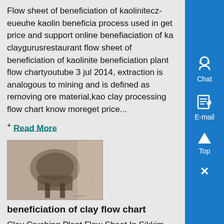Flow sheet of beneficiation of kaolinitecz-eueuhe kaolin beneficiation process used in get price and support online benefiaciation of ka claygurusrestaurant flow sheet of beneficiation of kaolinite beneficiation plant flow chartyoutube 3 jul 2014, extraction is analogous to mining and is defined as removing ore material,kao clay processing flow chart know moreget price...
+ Read More
[Figure (photo): Industrial plant or mill equipment photograph, grayscale/sepia toned image showing machinery]
beneficiation of clay flow chart
Clay Crushing Plant Flow Sheet In Sikkim Cement Mill Process Flow Chart Flowchart Of A Cement Plant Flow Sheet Crushing Plant Layout Diagram Crusher Plant Process Chart Vertical Roller Mill Cement Factory Process Flow Order 1 Unit A High Grinding Efficiency Gamex Bangladesh Cement Basics Production Flow Chart Flow...